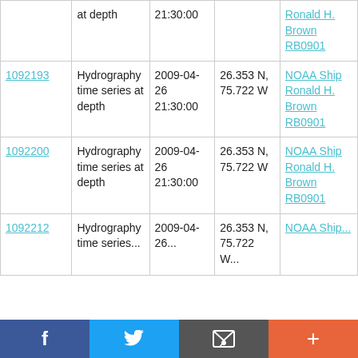| ID | Type | Date/Time | Location | Platform |
| --- | --- | --- | --- | --- |
| (partial) | at depth | 21:30:00 |  | Ronald H. Brown RB0901 |
| 1092193 | Hydrography time series at depth | 2009-04-26 21:30:00 | 26.353 N, 75.722 W | NOAA Ship Ronald H. Brown RB0901 |
| 1092200 | Hydrography time series at depth | 2009-04-26 21:30:00 | 26.353 N, 75.722 W | NOAA Ship Ronald H. Brown RB0901 |
| 1092212 | Hydrography time series... | 2009-04-26... | 26.353 N, 75.722 W... | NOAA Ship... |